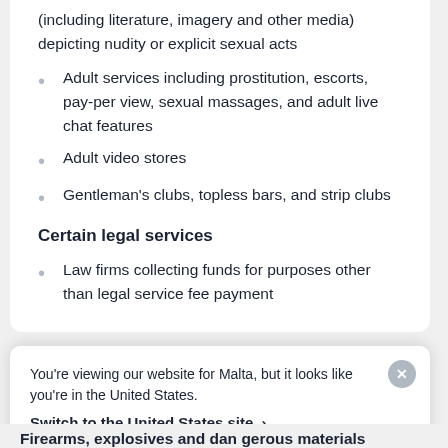(including literature, imagery and other media) depicting nudity or explicit sexual acts
Adult services including prostitution, escorts, pay-per view, sexual massages, and adult live chat features
Adult video stores
Gentleman's clubs, topless bars, and strip clubs
Certain legal services
Law firms collecting funds for purposes other than legal service fee payment
You're viewing our website for Malta, but it looks like you're in the United States.
Switch to the United States site ›
Firearms, explosives and dangerous materials